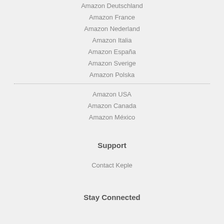Amazon Deutschland
Amazon France
Amazon Nederland
Amazon Italia
Amazon España
Amazon Sverige
Amazon Polska
Amazon USA
Amazon Canada
Amazon México
Support
Contact Keple
Stay Connected